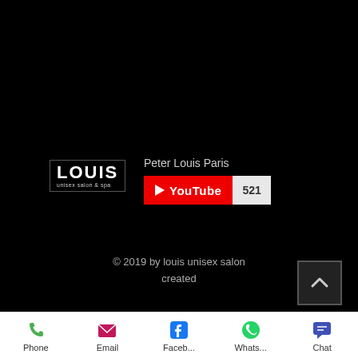[Figure (screenshot): Black background website footer area showing Louis unisex salon logo and YouTube channel subscribe widget for Peter Louis Paris with 521 subscribers, copyright notice, and scroll-to-top button]
Peter Louis Paris
YouTube 521
© 2019  by louis unisex salon created
Phone  Email  Faceb...  Whats...  Chat